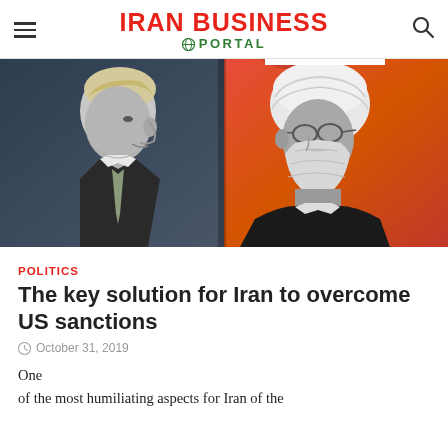IRAN BUSINESS PORTAL
[Figure (photo): Composite photo of two political figures facing each other — left side shows Donald Trump in black-and-white against a dark blue background, right side shows Iranian President Hassan Rouhani in black-and-white against a red/orange background, positioned face-to-face.]
POLITICS
The key solution for Iran to overcome US sanctions
October 31, 2019
One
of the most humiliating aspects for Iran of the